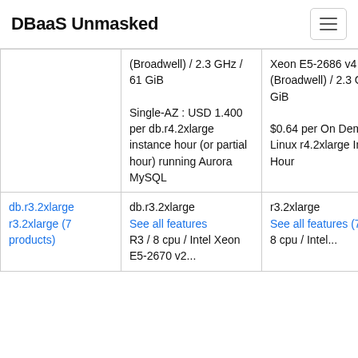DBaaS Unmasked
| Instance | Aurora / RDS Details | EC2 Equivalent |
| --- | --- | --- |
|  | (Broadwell) / 2.3 GHz / 61 GiB

Single-AZ : USD 1.400 per db.r4.2xlarge instance hour (or partial hour) running Aurora MySQL | Xeon E5-2686 v4 (Broadwell) / 2.3 GHz / 61 GiB

$0.64 per On Demand Linux r4.2xlarge Instance Hour |
| db.r3.2xlarge
r3.2xlarge (7 products) | db.r3.2xlarge
See all features
R3 / 8 cpu / Intel Xeon E5-2670 v2... | r3.2xlarge
See all features (7)
8 cpu / Intel... |